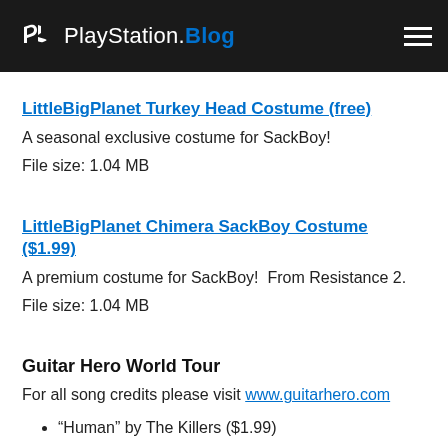PlayStation.Blog
LittleBigPlanet Turkey Head Costume (free)
A seasonal exclusive costume for SackBoy!
File size: 1.04 MB
LittleBigPlanet Chimera SackBoy Costume ($1.99)
A premium costume for SackBoy!  From Resistance 2.
File size: 1.04 MB
Guitar Hero World Tour
For all song credits please visit www.guitarhero.com
“Human” by The Killers ($1.99)
“Losing Touch” by The Killers ($1.99)